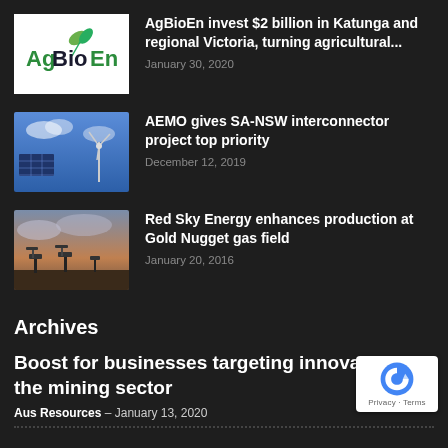[Figure (logo): AgBioEn logo with green leaf design on white background]
AgBioEn invest $2 billion in Katunga and regional Victoria, turning agricultural...
January 30, 2020
[Figure (photo): Solar panels and wind turbine against blue sky]
AEMO gives SA-NSW interconnector project top priority
December 12, 2019
[Figure (photo): Oil pump jacks at a gas field with cloudy sky]
Red Sky Energy enhances production at Gold Nugget gas field
January 20, 2016
Archives
Boost for businesses targeting innovation in the mining sector
Aus Resources – January 13, 2020